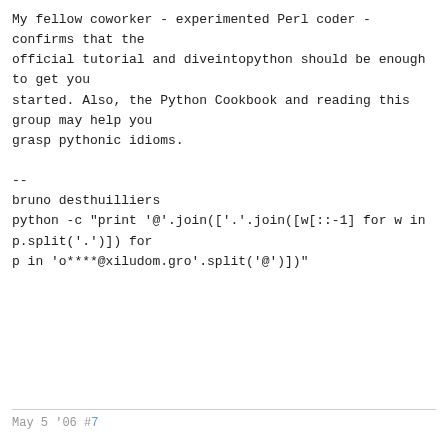My fellow coworker - experimented Perl coder - confirms that the official tutorial and diveintopython should be enough to get you started. Also, the Python Cookbook and reading this group may help you grasp pythonic idioms.

--
bruno desthuilliers
python -c "print '@'.join(['.'.join([w[::-1] for w in p.split('.')])
for
p in 'o****@xiludom.gro'.split('@')]""
May 5 '06 #7